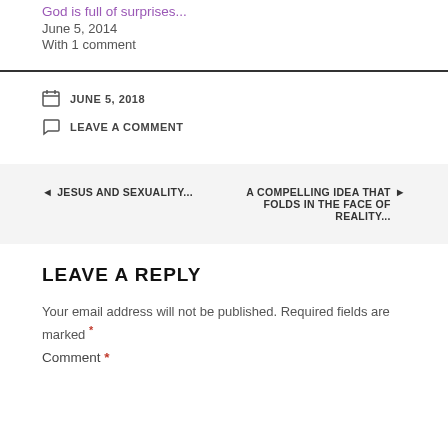God is full of surprises...
June 5, 2014
With 1 comment
JUNE 5, 2018
LEAVE A COMMENT
◄ JESUS AND SEXUALITY...
A COMPELLING IDEA THAT FOLDS IN THE FACE OF REALITY... ►
LEAVE A REPLY
Your email address will not be published. Required fields are marked *
Comment *